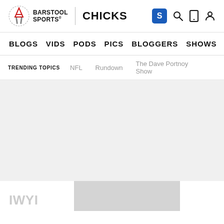Barstool Sports | CHICKS — navigation header with logo, search, mobile, and account icons
BLOGS  VIDS  PODS  PICS  BLOGGERS  SHOWS  TOPICS  STORE  +
TRENDING TOPICS   NFL   Rundown   The Dave Portnoy Show
[Figure (screenshot): Grey content area placeholder, no visible content loaded]
IWYI